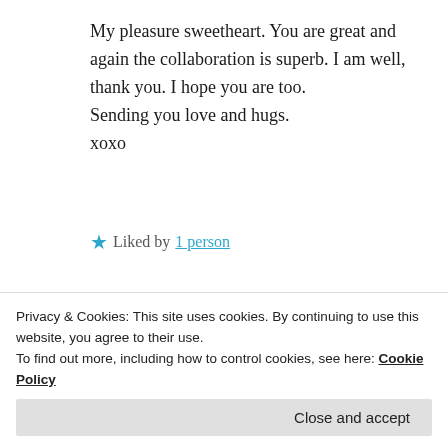My pleasure sweetheart. You are great and again the collaboration is superb. I am well, thank you. I hope you are too.
Sending you love and hugs.
xoxo
★ Liked by 1 person
REPLY
[Figure (photo): Circular avatar photo of Ishita Gupta]
ISHITA GUPTA
Privacy & Cookies: This site uses cookies. By continuing to use this website, you agree to their use.
To find out more, including how to control cookies, see here: Cookie Policy
Close and accept